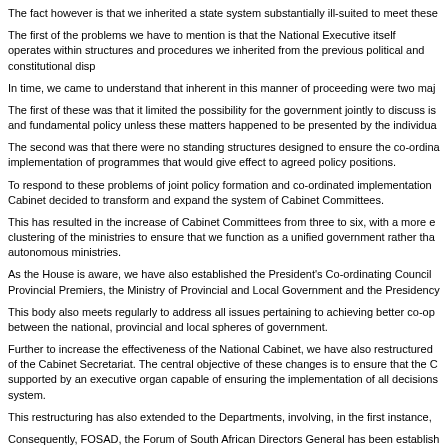The fact however is that we inherited a state system substantially ill-suited to meet these
The first of the problems we have to mention is that the National Executive itself operates within structures and procedures we inherited from the previous political and constitutional disp
In time, we came to understand that inherent in this manner of proceeding were two maj
The first of these was that it limited the possibility for the government jointly to discuss is and fundamental policy unless these matters happened to be presented by the individua
The second was that there were no standing structures designed to ensure the co-ordina implementation of programmes that would give effect to agreed policy positions.
To respond to these problems of joint policy formation and co-ordinated implementation Cabinet decided to transform and expand the system of Cabinet Committees.
This has resulted in the increase of Cabinet Committees from three to six, with a more e clustering of the ministries to ensure that we function as a unified government rather tha autonomous ministries.
As the House is aware, we have also established the President's Co-ordinating Council Provincial Premiers, the Ministry of Provincial and Local Government and the Presidency
This body also meets regularly to address all issues pertaining to achieving better co-op between the national, provincial and local spheres of government.
Further to increase the effectiveness of the National Cabinet, we have also restructured of the Cabinet Secretariat. The central objective of these changes is to ensure that the C supported by an executive organ capable of ensuring the implementation of all decisions system.
This restructuring has also extended to the Departments, involving, in the first instance,
Consequently, FOSAD, the Forum of South African Directors General has been establish among other things to ensure the proper co-ordination of all elements of the work of the national and provincial levels.
The Directors General are also grouped into clusters similar to those that group Ministers